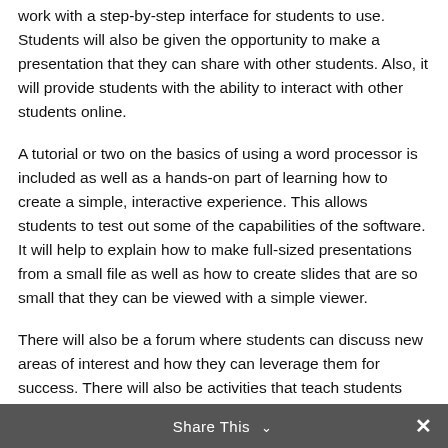work with a step-by-step interface for students to use. Students will also be given the opportunity to make a presentation that they can share with other students. Also, it will provide students with the ability to interact with other students online.
A tutorial or two on the basics of using a word processor is included as well as a hands-on part of learning how to create a simple, interactive experience. This allows students to test out some of the capabilities of the software. It will help to explain how to make full-sized presentations from a small file as well as how to create slides that are so small that they can be viewed with a simple viewer.
There will also be a forum where students can discuss new areas of interest and how they can leverage them for success. There will also be activities that teach students about the basic functions of the program.
Share This ∨  ✕
Classes are very flexible so that students are not locked into